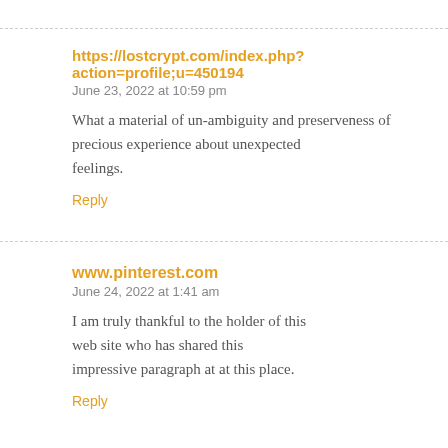https://lostcrypt.com/index.php?action=profile;u=450194
June 23, 2022 at 10:59 pm
What a material of un-ambiguity and preserveness of precious experience about unexpected feelings.
Reply
www.pinterest.com
June 24, 2022 at 1:41 am
I am truly thankful to the holder of this web site who has shared this impressive paragraph at at this place.
Reply